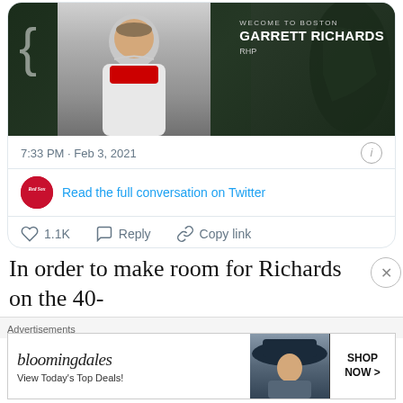[Figure (screenshot): Tweet card showing a Boston Red Sox announcement graphic with Garrett Richards in uniform. Text reads 'WELCOME TO BOSTON GARRETT RICHARDS RHP'. Below: timestamp '7:33 PM · Feb 3, 2021' with info button, Red Sox icon and 'Read the full conversation on Twitter' link, action bar with 1.1K likes, Reply, Copy link, and 'Read 24 replies' button.]
In order to make room for Richards on the 40-
Advertisements
[Figure (screenshot): Bloomingdales advertisement banner showing brand logo with 'bloomingdales' in stylized text, tagline 'View Today's Top Deals!', photo of woman in large hat, and 'SHOP NOW >' button.]